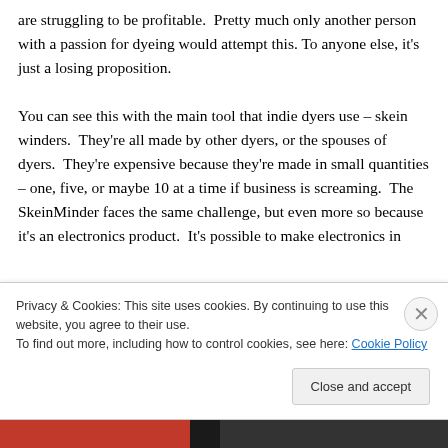are struggling to be profitable. Pretty much only another person with a passion for dyeing would attempt this. To anyone else, it's just a losing proposition.

You can see this with the main tool that indie dyers use – skein winders. They're all made by other dyers, or the spouses of dyers. They're expensive because they're made in small quantities – one, five, or maybe 10 at a time if business is screaming. The SkeinMinder faces the same challenge, but even more so because it's an electronics product. It's possible to make electronics in
Privacy & Cookies: This site uses cookies. By continuing to use this website, you agree to their use.
To find out more, including how to control cookies, see here: Cookie Policy
Close and accept